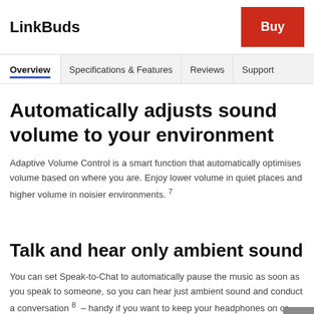LinkBuds
Overview | Specifications & Features | Reviews | Support
Automatically adjusts sound volume to your environment
Adaptive Volume Control is a smart function that automatically optimises volume based on where you are. Enjoy lower volume in quiet places and higher volume in noisier environments. 7
Talk and hear only ambient sound
You can set Speak-to-Chat to automatically pause the music as soon as you speak to someone, so you can hear just ambient sound and conduct a conversation 8 – handy if you want to keep your headphones on or your hands are full. And once your chat is over, your